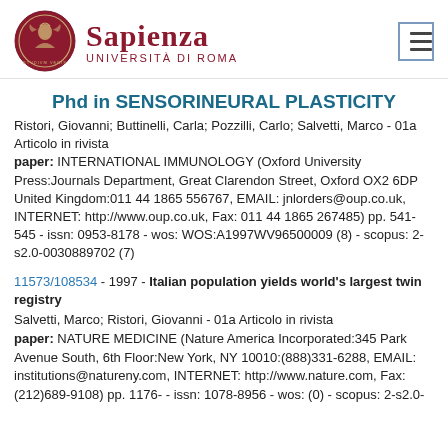[Figure (logo): Sapienza Università di Roma logo with circular seal and text]
Phd in SENSORINEURAL PLASTICITY
Ristori, Giovanni; Buttinelli, Carla; Pozzilli, Carlo; Salvetti, Marco - 01a Articolo in rivista
paper: INTERNATIONAL IMMUNOLOGY (Oxford University Press:Journals Department, Great Clarendon Street, Oxford OX2 6DP United Kingdom:011 44 1865 556767, EMAIL: jnlorders@oup.co.uk, INTERNET: http://www.oup.co.uk, Fax: 011 44 1865 267485) pp. 541-545 - issn: 0953-8178 - wos: WOS:A1997WV96500009 (8) - scopus: 2-s2.0-0030889702 (7)
11573/108534 - 1997 - Italian population yields world's largest twin registry
Salvetti, Marco; Ristori, Giovanni - 01a Articolo in rivista
paper: NATURE MEDICINE (Nature America Incorporated:345 Park Avenue South, 6th Floor:New York, NY 10010:(888)331-6288, EMAIL: institutions@natureny.com, INTERNET: http://www.nature.com, Fax: (212)689-9108) pp. 1176- - issn: 1078-8956 - wos: (0) - scopus: 2-s2.0-